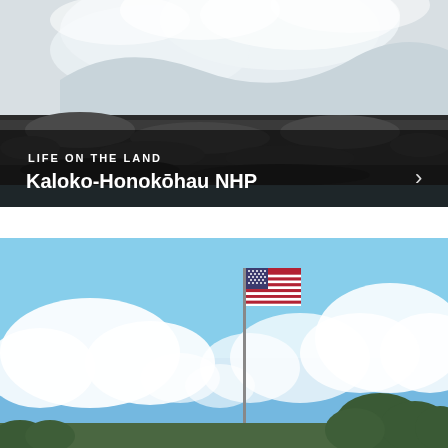[Figure (photo): Ocean waves crashing dramatically against a dark lava rock seawall, with white spray and mist. Dark semi-transparent banner overlay at bottom with text 'LIFE ON THE LAND' and 'Kaloko-Honokōhau NHP' in white, plus a right arrow navigation chevron.]
[Figure (photo): An American flag on a tall flagpole against a bright blue sky with white cumulus clouds. Green trees visible at the right edge and bottom of the frame.]